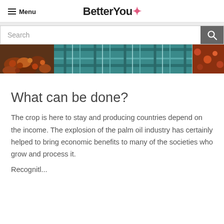Menu | BetterYou
[Figure (screenshot): Search bar with text input field and search button on grey background]
[Figure (photo): Partial image showing palm oil fruits and a person wearing a teal/blue plaid shirt]
What can be done?
The crop is here to stay and producing countries depend on the income. The explosion of the palm oil industry has certainly helped to bring economic benefits to many of the societies who grow and process it.
Recognitl...